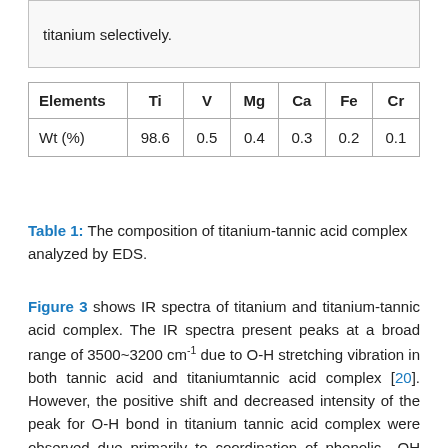titanium selectively.
| Elements | Ti | V | Mg | Ca | Fe | Cr |
| --- | --- | --- | --- | --- | --- | --- |
| Wt (%) | 98.6 | 0.5 | 0.4 | 0.3 | 0.2 | 0.1 |
Table 1: The composition of titanium-tannic acid complex analyzed by EDS.
Figure 3 shows IR spectra of titanium and titanium-tannic acid complex. The IR spectra present peaks at a broad range of 3500~3200 cm-1 due to O-H stretching vibration in both tannic acid and titaniumtannic acid complex [20]. However, the positive shift and decreased intensity of the peak for O-H bond in titanium tannic acid complex were observed due primarily to coordination of phenolic –OH group with titanium ion by means of deprotonation [10,21]. This may suggest that tannic acid tends to form complexes with titanium using hydroxyl groups in benzene rings. Several peaks below 1800 cm-1 are due to tannic acid